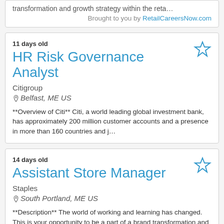transformation and growth strategy within the reta…
Brought to you by RetailCareersNow.com
11 days old
HR Risk Governance Analyst
Citigroup
Belfast, ME US
**Overview of Citi** Citi, a world leading global investment bank, has approximately 200 million customer accounts and a presence in more than 160 countries and j…
14 days old
Assistant Store Manager
Staples
South Portland, ME US
**Description** The world of working and learning has changed. This is your opportunity to be a part of a brand transformation and growth strategy within the reta…